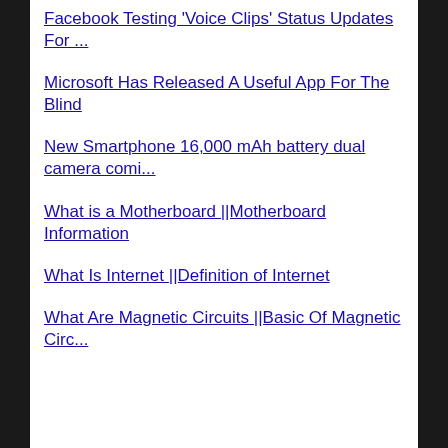Facebook Testing 'Voice Clips' Status Updates For ...
Microsoft Has Released A Useful App For The Blind
New Smartphone 16,000 mAh battery dual camera comi...
What is a Motherboard ||Motherboard Information
What Is Internet ||Definition of Internet
What Are Magnetic Circuits ||Basic Of Magnetic Circ...